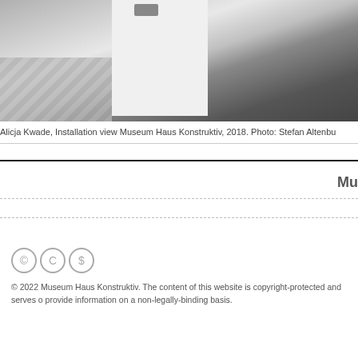[Figure (photo): Gallery installation view showing a white room with a white wall/pillar, tiled floor on the left, dark floor on the right, and a small sculpture visible at top center.]
Alicja Kwade, Installation view Museum Haus Konstruktiv, 2018. Photo: Stefan Altenbu
Mu
© 2022 Museum Haus Konstruktiv. The content of this website is copyright-protected and serves o provide information on a non-legally-binding basis.